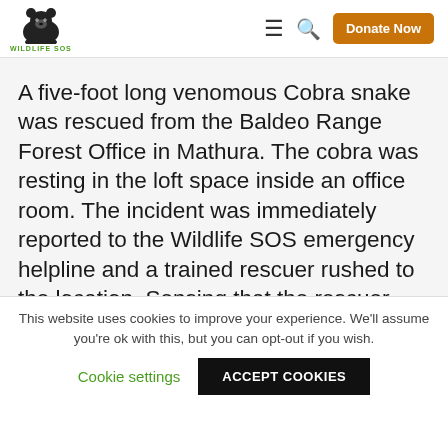[Figure (logo): Wildlife SOS logo with bear illustration and green text 'WILDLIFE SOS']
A five-foot long venomous Cobra snake was rescued from the Baldeo Range Forest Office in Mathura. The cobra was resting in the loft space inside an office room. The incident was immediately reported to the Wildlife SOS emergency helpline and a trained rescuer rushed to the location. Sensing that the rescuer was trying to
This website uses cookies to improve your experience. We'll assume you're ok with this, but you can opt-out if you wish.
Cookie settings
ACCEPT COOKIES